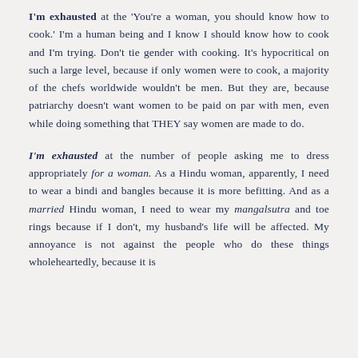I'm exhausted at the 'You're a woman, you should know how to cook.' I'm a human being and I know I should know how to cook and I'm trying. Don't tie gender with cooking. It's hypocritical on such a large level, because if only women were to cook, a majority of the chefs worldwide wouldn't be men. But they are, because patriarchy doesn't want women to be paid on par with men, even while doing something that THEY say women are made to do.
I'm exhausted at the number of people asking me to dress appropriately for a woman. As a Hindu woman, apparently, I need to wear a bindi and bangles because it is more befitting. And as a married Hindu woman, I need to wear my mangalsutra and toe rings because if I don't, my husband's life will be affected. My annoyance is not against the people who do these things wholeheartedly, because it is